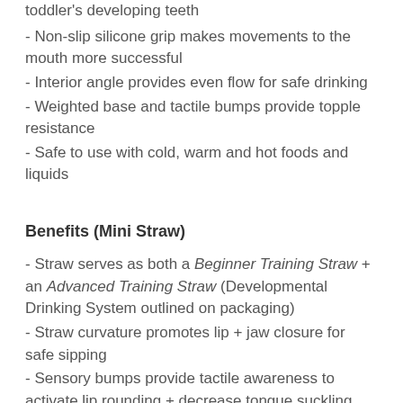toddler's developing teeth
- Non-slip silicone grip makes movements to the mouth more successful
- Interior angle provides even flow for safe drinking
- Weighted base and tactile bumps provide topple resistance
- Safe to use with cold, warm and hot foods and liquids
Benefits (Mini Straw)
- Straw serves as both a Beginner Training Straw + an Advanced Training Straw (Developmental Drinking System outlined on packaging)
- Straw curvature promotes lip + jaw closure for safe sipping
- Sensory bumps provide tactile awareness to activate lip rounding + decrease tongue suckling
- Short straw length helps strengthen breath support + encourages nose breathing